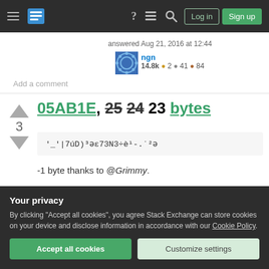[Figure (screenshot): Stack Exchange navigation bar with hamburger menu, logo, help icon, chat icon, search icon, Log in button, and Sign up button]
answered Aug 21, 2016 at 12:44
[Figure (photo): User avatar for ngn — blue patterned avatar]
ngn 14.8k ● 2 ● 41 ● 84
Add a comment
05AB1E, 25 24 23 bytes
'_'|7úD)³ǝε73N3÷è¹-.˙²ǝ
-1 byte thanks to @Grimmy.
Your privacy
By clicking "Accept all cookies", you agree Stack Exchange can store cookies on your device and disclose information in accordance with our Cookie Policy.
Accept all cookies
Customize settings